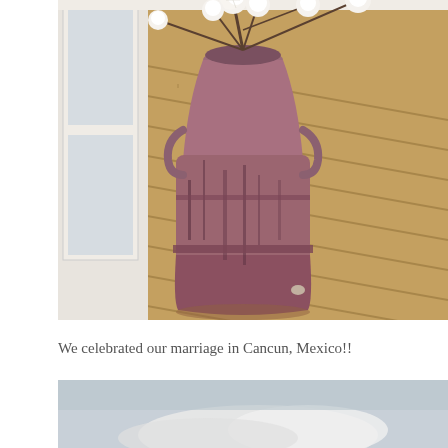[Figure (photo): A rustic, weathered pink metal milk jug/churn containing cotton branches with fluffy white cotton bolls, sitting on a wooden porch deck beside white-painted wooden walls and a window.]
We celebrated our marriage in Cancun, Mexico!!
[Figure (photo): Partial view of a sky with clouds, bottom portion of a photo cut off by page edge.]